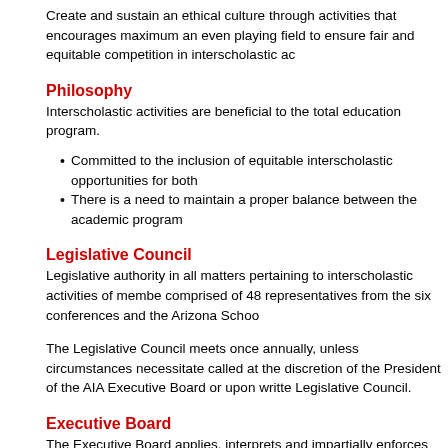Create and sustain an ethical culture through activities that encourages maximum an even playing field to ensure fair and equitable competition in interscholastic ac
Philosophy
Interscholastic activities are beneficial to the total education program.
Committed to the inclusion of equitable interscholastic opportunities for both
There is a need to maintain a proper balance between the academic program
Legislative Council
Legislative authority in all matters pertaining to interscholastic activities of member comprised of 48 representatives from the six conferences and the Arizona School
The Legislative Council meets once annually, unless circumstances necessitate called at the discretion of the President of the AIA Executive Board or upon writte Legislative Council.
Executive Board
The Executive Board applies, interprets and impartially enforces the rules and re 10-member Executive Board is comprised of one administrator from each of the Interscholastic Athletic Administrators Association, Arizona School Administrators Central Association. The Executive Director, who oversees the daily operation of
Finance
The AIA operational budget is financed by membership dues, varsity sport partici as rule books. Net play-off gate receipts are disbursed annually to AIA member service to its member schools, the AIA issues payments for student excess acid financial records are audited annually by an independent accounting firm.
The AIA's comprehensive dues structure has facilitated fiscally sound decision-